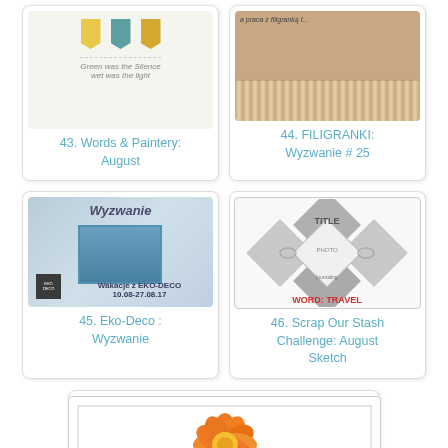[Figure (photo): Card 43: Words & Paintery August - banner image with colored pennants]
43. Words & Paintery: August
[Figure (photo): Card 44: FILIGRANKI Wyzwanie #25 - lace/filigree image]
44. FILIGRANKI: Wyzwanie # 25
[Figure (photo): Card 45: Eko-Deco Wyzwanie - scrapbooking challenge image with blue background]
45. Eko-Deco : Wyzwanie
[Figure (photo): Card 46: Scrap Our Stash Challenge August Sketch - diamond sketch layout with WORD: TRAVEL]
46. Scrap Our Stash Challenge: August Sketch
[Figure (photo): Card 47: a2zscrapbooking Monthly Challenge August 2017 Bright & Beautiful - orange flower]
a2zscrapbooking MONTHLY CHALLENGE August 2017 "Bright & Beautiful"